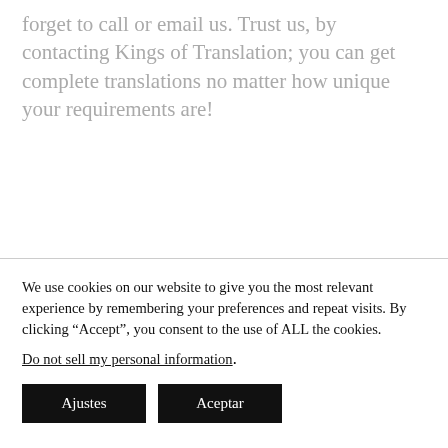forget to call or email us. Trust us, by contacting Kings of Translation; you can get complete translations no matter how unique your requirements are!
We use cookies on our website to give you the most relevant experience by remembering your preferences and repeat visits. By clicking “Accept”, you consent to the use of ALL the cookies.
Do not sell my personal information.
Ajustes
Aceptar